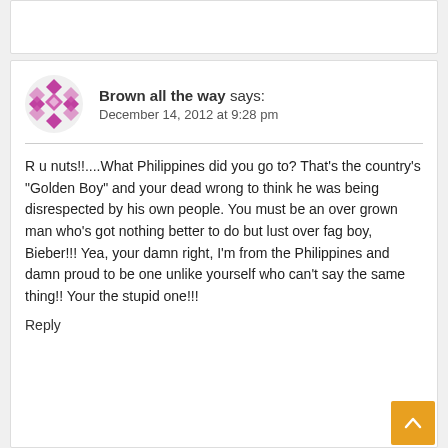Brown all the way says: December 14, 2012 at 9:28 pm
R u nuts!!....What Philippines did you go to? That's the country's "Golden Boy" and your dead wrong to think he was being disrespected by his own people. You must be an over grown man who's got nothing better to do but lust over fag boy, Bieber!!! Yea, your damn right, I'm from the Philippines and damn proud to be one unlike yourself who can't say the same thing!! Your the stupid one!!!
Reply